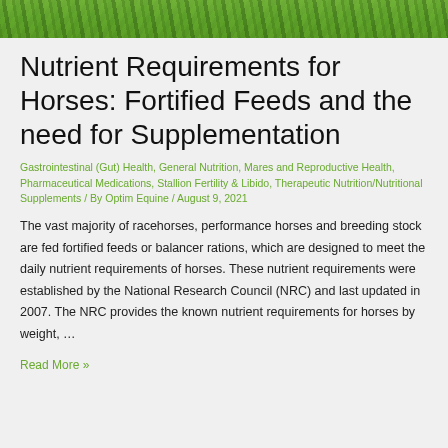[Figure (photo): Green grass/field image banner at the top of the page]
Nutrient Requirements for Horses: Fortified Feeds and the need for Supplementation
Gastrointestinal (Gut) Health, General Nutrition, Mares and Reproductive Health, Pharmaceutical Medications, Stallion Fertility & Libido, Therapeutic Nutrition/Nutritional Supplements / By Optim Equine / August 9, 2021
The vast majority of racehorses, performance horses and breeding stock are fed fortified feeds or balancer rations, which are designed to meet the daily nutrient requirements of horses. These nutrient requirements were established by the National Research Council (NRC) and last updated in 2007. The NRC provides the known nutrient requirements for horses by weight, …
Read More »